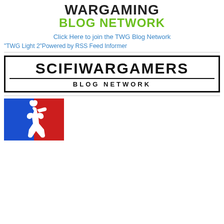[Figure (logo): Wargaming Blog Network logo with black bold text 'WARGAMING' and green bold text 'BLOG NETWORK']
Click Here to join the TWG Blog Network
"TWG Light 2"Powered by RSS Feed Informer
[Figure (logo): SciFi Wargamers Blog Network banner logo with black border, large bold black text 'SCIFIWARGAMERS' and subtitle 'BLOG NETWORK']
[Figure (logo): Zombie silhouette logo with blue and red background, similar to NBA logo style but with a zombie figure]